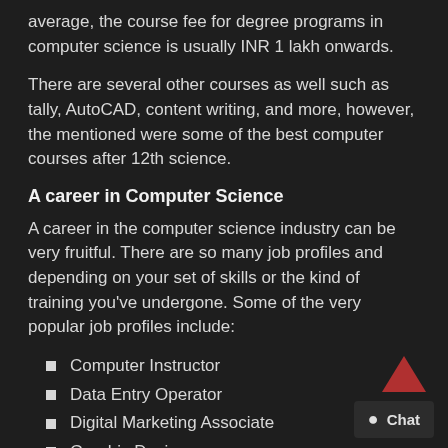average, the course fee for degree programs in computer science is usually INR 1 lakh onwards.
There are several other courses as well such as tally, AutoCAD, content writing, and more, however, the mentioned were some of the best computer courses after 12th science.
A career in Computer Science
A career in the computer science industry can be very fruitful. There are so many job profiles and depending on your set of skills or the kind of training you’ve undergone. Some of the very popular job profiles include:
Computer Instructor
Data Entry Operator
Digital Marketing Associate
Graphic Designer